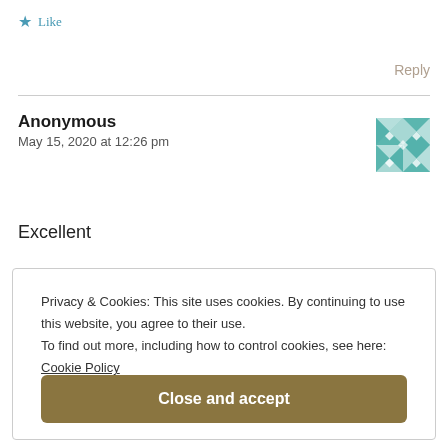★ Like
Reply
Anonymous
May 15, 2020 at 12:26 pm
[Figure (illustration): Teal/green geometric patterned avatar icon]
Excellent
Privacy & Cookies: This site uses cookies. By continuing to use this website, you agree to their use.
To find out more, including how to control cookies, see here:
Cookie Policy
Close and accept